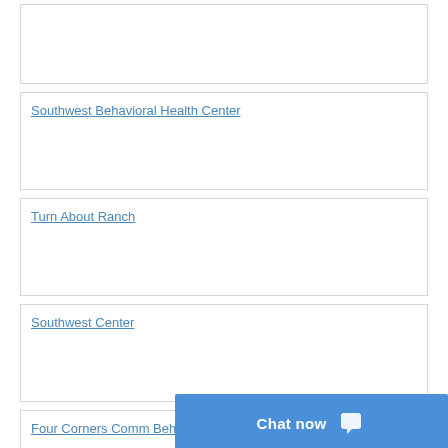Southwest Behavioral Health Center
Turn About Ranch
Southwest Center
Four Corners Comm Behav Health Center
Cornerstone Clinical Services LLC